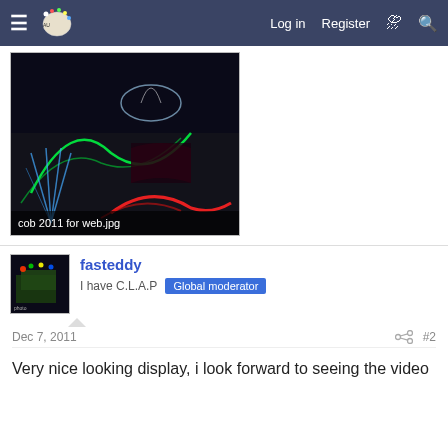Log in  Register
[Figure (photo): Christmas lights display showing colorful illuminated decorations including green, red, and blue laser/LED patterns on buildings at night. Caption reads: cob 2011 for web.jpg]
fasteddy
I have C.L.A.P   Global moderator
Dec 7, 2011   #2
Very nice looking display, i look forward to seeing the video